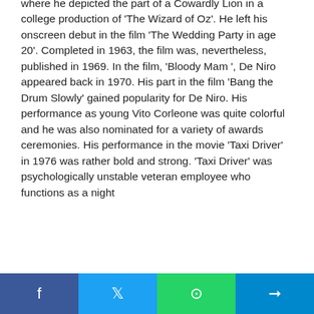where he depicted the part of a Cowardly Lion in a college production of 'The Wizard of Oz'. He left his onscreen debut in the film 'The Wedding Party in age 20'. Completed in 1963, the film was, nevertheless, published in 1969. In the film, 'Bloody Mam ', De Niro appeared back in 1970. His part in the film 'Bang the Drum Slowly' gained popularity for De Niro. His performance as young Vito Corleone was quite colorful and he was also nominated for a variety of awards ceremonies. His performance in the movie 'Taxi Driver' in 1976 was rather bold and strong. 'Taxi Driver' was psychologically unstable veteran employee who functions as a night
Social share bar: Facebook, Twitter, WhatsApp, Telegram